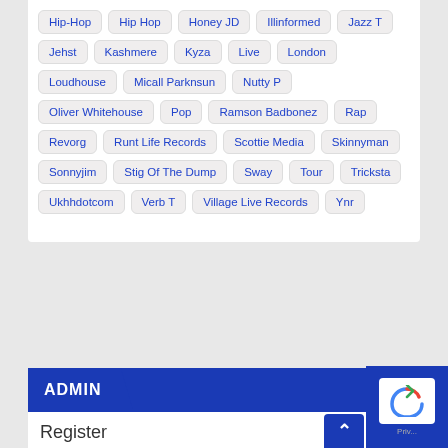Hip-Hop
Hip Hop
Honey JD
Illinformed
Jazz T
Jehst
Kashmere
Kyza
Live
London
Loudhouse
Micall Parknsun
Nutty P
Oliver Whitehouse
Pop
Ramson Badbonez
Rap
Revorg
Runt Life Records
Scottie Media
Skinnyman
Sonnyjim
Stig Of The Dump
Sway
Tour
Tricksta
Ukhhdotcom
Verb T
Village Live Records
Ynr
ADMIN
Register